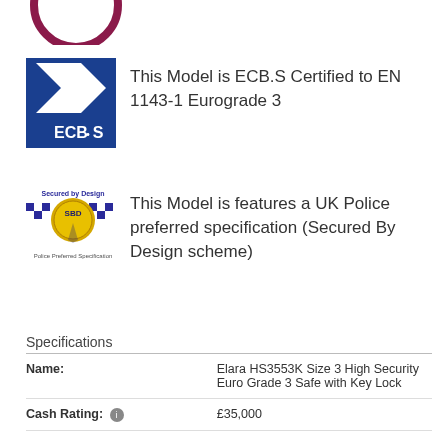[Figure (logo): Partial circular logo in dark red/maroon at top left corner, partially cropped]
[Figure (logo): ECB.S certification logo - blue square with white arrow/chevron shape and ECB.S text]
This Model is ECB.S Certified to EN 1143-1 Eurograde 3
[Figure (logo): Secured by Design logo with SBD badge, checkered pattern, text 'Secured by Design' and 'Police Preferred Specification']
This Model is features a UK Police preferred specification (Secured By Design scheme)
Specifications
|  |  |
| --- | --- |
| Name: | Elara HS3553K Size 3 High Security Euro Grade 3 Safe with Key Lock |
| Cash Rating: | £35,000 |